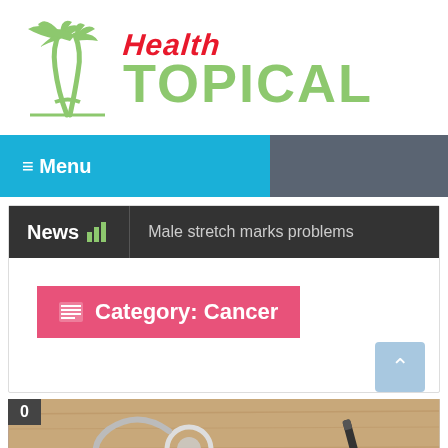[Figure (logo): Health Topical logo with palm tree icon, 'HEALTH' in red italic script and 'TOPICAL' in large green bold text]
≡ Menu
News  |  Male stretch marks problems
Category: Cancer
0